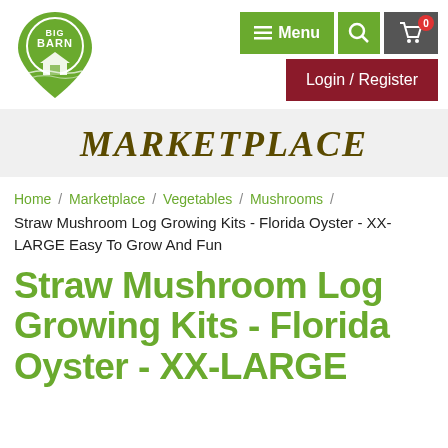[Figure (logo): Big Barn logo - green location pin shape with barn and fields, white text BIG BARN]
Menu | Search | Cart (0) | Login / Register
MARKETPLACE
Home / Marketplace / Vegetables / Mushrooms / Straw Mushroom Log Growing Kits - Florida Oyster - XX-LARGE Easy To Grow And Fun
Straw Mushroom Log Growing Kits - Florida Oyster - XX-LARGE